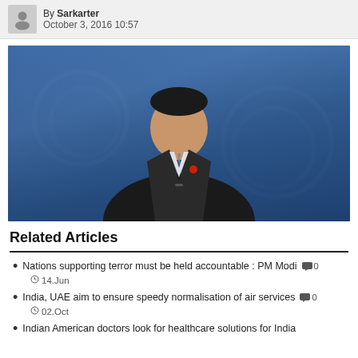By Sarkanter
October 3, 2016 10:57
[Figure (photo): A man in a dark suit speaking at a UN podium with blue UN background and logo watermarks visible]
Related Articles
Nations supporting terror must be held accountable : PM Modi  0  14.Jun
India, UAE aim to ensure speedy normalisation of air services  0  02.Oct
Indian American doctors look for healthcare solutions for India